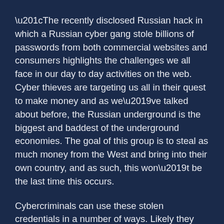“The recently disclosed Russian hack in which a Russian cyber gang stole billions of passwords from both commercial websites and consumers highlights the challenges we all face in our day to day activities on the web. Cyber thieves are targeting us all in their quest to make money and as we’ve talked about before, the Russian underground is the biggest and baddest of the underground economies. The goal of this group is to steal as much money from the West and bring into their own country, and as such, this won’t be the last time this occurs.
Cybercriminals can use these stolen credentials in a number of ways. Likely they are selling them within the underground for different amounts depending on the information stolen. Trend Micro researchers have been monitoring the Russian